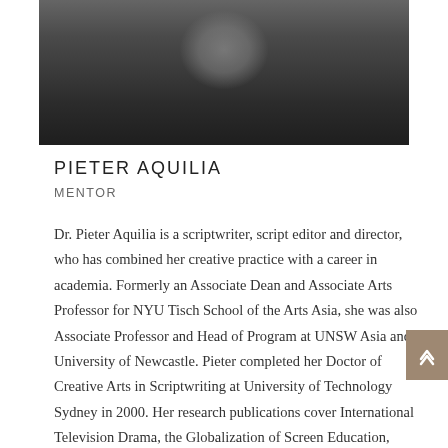[Figure (photo): Black and white portrait photo of Pieter Aquilia, cropped to show upper body, wearing dark clothing against a blurred background]
PIETER AQUILIA
MENTOR
Dr. Pieter Aquilia is a scriptwriter, script editor and director, who has combined her creative practice with a career in academia. Formerly an Associate Dean and Associate Arts Professor for NYU Tisch School of the Arts Asia, she was also Associate Professor and Head of Program at UNSW Asia and University of Newcastle. Pieter completed her Doctor of Creative Arts in Scriptwriting at University of Technology Sydney in 2000. Her research publications cover International Television Drama, the Globalization of Screen Education, Ethnic and